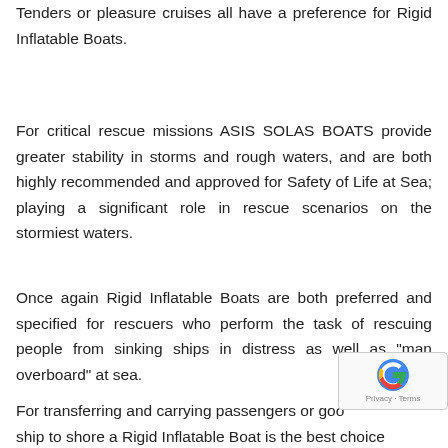Tenders or pleasure cruises all have a preference for Rigid Inflatable Boats.
For critical rescue missions ASIS SOLAS BOATS provide greater stability in storms and rough waters, and are both highly recommended and approved for Safety of Life at Sea; playing a significant role in rescue scenarios on the stormiest waters.
Once again Rigid Inflatable Boats are both preferred and specified for rescuers who perform the task of rescuing people from sinking ships in distress as well as "man overboard" at sea.
For transferring and carrying passengers or goo... ship to shore a Rigid Inflatable Boat is the best choice...